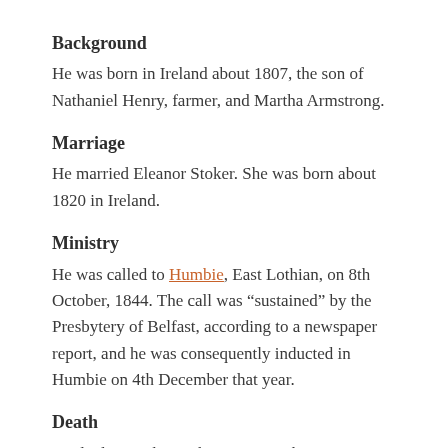Background
He was born in Ireland about 1807, the son of Nathaniel Henry, farmer, and Martha Armstrong.
Marriage
He married Eleanor Stoker. She was born about 1820 in Ireland.
Ministry
He was called to Humbie, East Lothian, on 8th October, 1844. The call was “sustained” by the Presbytery of Belfast, according to a newspaper report, and he was consequently inducted in Humbie on 4th December that year.
Death
He died on 26th October, 1873, at the Free Church Manse, Humbie, East Lothian (Registration: 1873 710/ 13 Humbie). An Eleanor Henry aged 81 was living in Bushmills, Antrim, in 1901, a widow, living of her